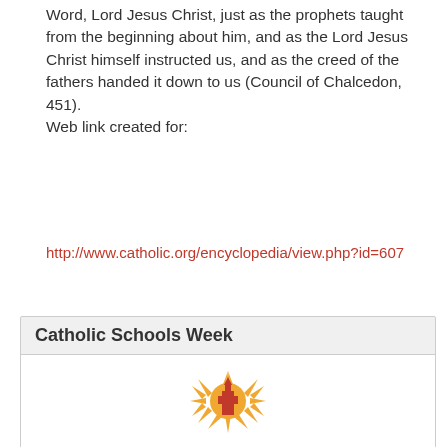Word, Lord Jesus Christ, just as the prophets taught from the beginning about him, and as the Lord Jesus Christ himself instructed us, and as the creed of the fathers handed it down to us (Council of Chalcedon, 451).
Web link created for:
http://www.catholic.org/encyclopedia/view.php?id=607
[Figure (screenshot): Social media share/tweet buttons: Share (Facebook), Tweet (Twitter), Share (Pinterest), Share (LinkedIn), Share (Google+)]
Catholic Schools Week
[Figure (logo): Catholic Schools Week logo: a stylized sun burst with rays and a cross/church silhouette in orange and red]